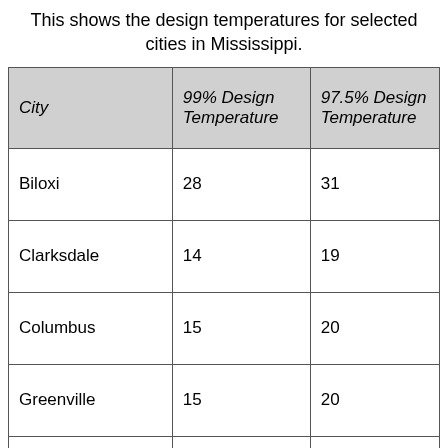This shows the design temperatures for selected cities in Mississippi.
| City | 99% Design Temperature | 97.5% Design Temperature |
| --- | --- | --- |
| Biloxi | 28 | 31 |
| Clarksdale | 14 | 19 |
| Columbus | 15 | 20 |
| Greenville | 15 | 20 |
| Greenwood | 15 | 20 |